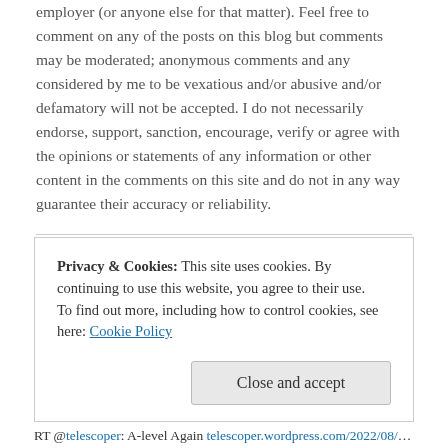employer (or anyone else for that matter). Feel free to comment on any of the posts on this blog but comments may be moderated; anonymous comments and any considered by me to be vexatious and/or abusive and/or defamatory will not be accepted. I do not necessarily endorse, support, sanction, encourage, verify or agree with the opinions or statements of any information or other content in the comments on this site and do not in any way guarantee their accuracy or reliability.
My Facebook Page
Privacy & Cookies: This site uses cookies. By continuing to use this website, you agree to their use. To find out more, including how to control cookies, see here: Cookie Policy
RT @telescoper: A-level Again telescoper.wordpress.com/2022/08/18/a-